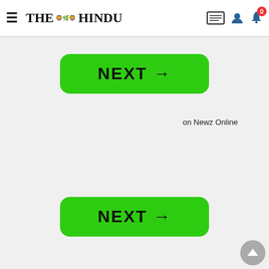THE HINDU
[Figure (screenshot): Green NEXT button with arrow (top)]
on Newz Online
[Figure (screenshot): Green NEXT button with arrow (bottom)]